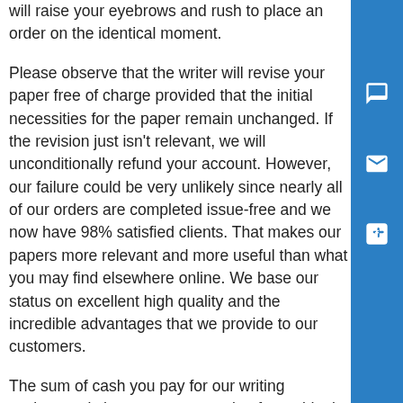will raise your eyebrows and rush to place an order on the identical moment.
Please observe that the writer will revise your paper free of charge provided that the initial necessities for the paper remain unchanged. If the revision just isn't relevant, we will unconditionally refund your account. However, our failure could be very unlikely since nearly all of our orders are completed issue-free and we now have 98% satisfied clients. That makes our papers more relevant and more useful than what you may find elsewhere online. We base our status on excellent high quality and the incredible advantages that we provide to our customers.
The sum of cash you pay for our writing assistance is honest compensation for an ideal end result, fast service, and safe cooperation. In any case, it is probably certainly one of the lowest ones on the market. We'll return your money if our essay writing service fails to offer you a top-quality, original essay accomplished based on the initial directions. All you have to do is arm your self and discover the help of a certified expert who can write an